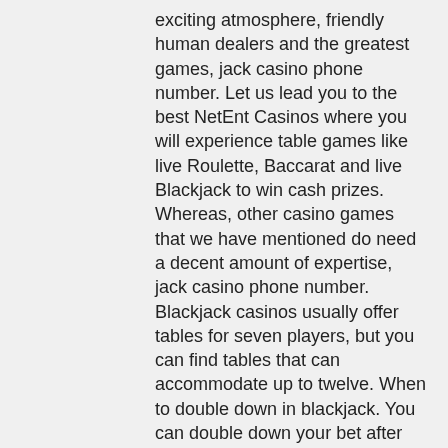exciting atmosphere, friendly human dealers and the greatest games, jack casino phone number. Let us lead you to the best NetEnt Casinos where you will experience table games like live Roulette, Baccarat and live Blackjack to win cash prizes. Whereas, other casino games that we have mentioned do need a decent amount of expertise, jack casino phone number. Blackjack casinos usually offer tables for seven players, but you can find tables that can accommodate up to twelve. When to double down in blackjack. You can double down your bet after you get the first two cards. It's a favourable strategy for a player, but you need to be familiar with the basics of blackjack first. In some casinos, the host will not allow you to double down just any two cards you have and limit this move to hands that total 10 or 11, jack casino phone number.